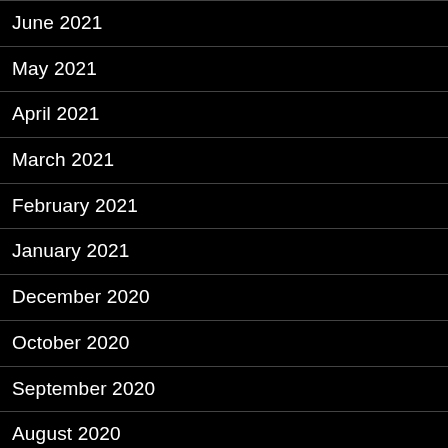June 2021
May 2021
April 2021
March 2021
February 2021
January 2021
December 2020
October 2020
September 2020
August 2020
July 2020
June 2020